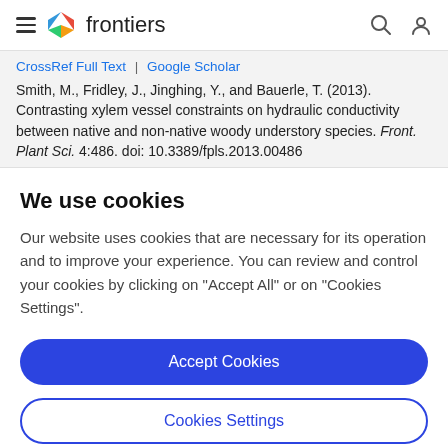frontiers
CrossRef Full Text | Google Scholar
Smith, M., Fridley, J., Jinghing, Y., and Bauerle, T. (2013). Contrasting xylem vessel constraints on hydraulic conductivity between native and non-native woody understory species. Front. Plant Sci. 4:486. doi: 10.3389/fpls.2013.00486
We use cookies
Our website uses cookies that are necessary for its operation and to improve your experience. You can review and control your cookies by clicking on "Accept All" or on "Cookies Settings".
Accept Cookies
Cookies Settings